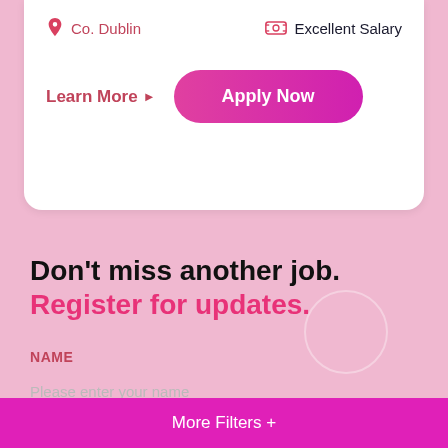[Figure (infographic): Top portion of a job listing card showing location 'Co. Dublin' with pin icon and 'Excellent Salary' with money icon, plus 'Learn More' link and 'Apply Now' pink rounded button]
Don't miss another job.
Register for updates.
NAME
Please enter your name
EMAIL
More Filters +